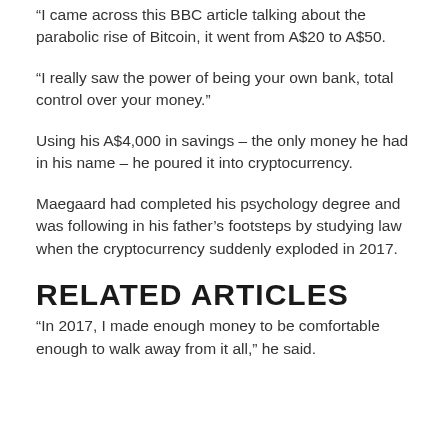“I came across this BBC article talking about the parabolic rise of Bitcoin, it went from A$20 to A$50.
“I really saw the power of being your own bank, total control over your money.”
Using his A$4,000 in savings – the only money he had in his name – he poured it into cryptocurrency.
Maegaard had completed his psychology degree and was following in his father’s footsteps by studying law when the cryptocurrency suddenly exploded in 2017.
RELATED ARTICLES
“In 2017, I made enough money to be comfortable enough to walk away from it all,” he said.